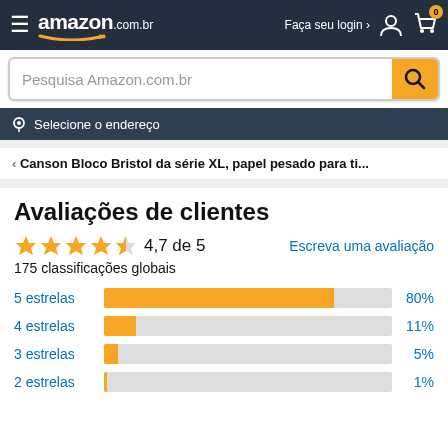amazon.com.br  Faça seu login › 0
Pesquisa Amazon.com.br
Selecione o endereço
< Canson Bloco Bristol da série XL, papel pesado para ti...
Avaliações de clientes
4,7 de 5
Escreva uma avaliação
175 classificações globais
[Figure (bar-chart): Classificações por estrelas]